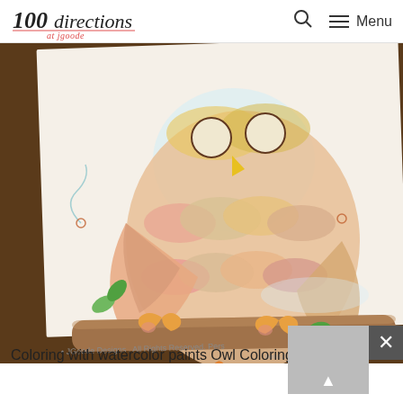100directions at jgoode — Search — Menu
[Figure (photo): Close-up photo of a colored owl illustration on a coloring page. The owl is painted with watercolor paints in pink, orange, yellow, and tan tones, sitting on a branch with orange heart-shaped feet and green leaves. A watercolor paintbrush with an orange handle rests diagonally across the page. The coloring page shows 'JGoode Designs. All Rights Reserved. Personal...' text at the bottom. Background is dark brown wood.]
Coloring with watercolor paints Owl Coloring Pages